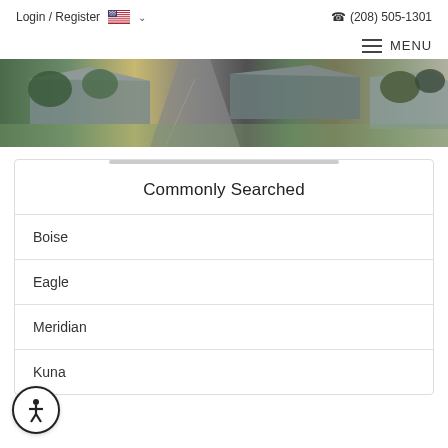Login / Register  (208) 505-1301
MENU
[Figure (photo): Aerial view of residential neighborhood with houses and roads visible from above, with trees scattered throughout.]
Commonly Searched
Boise
Eagle
Meridian
Kuna